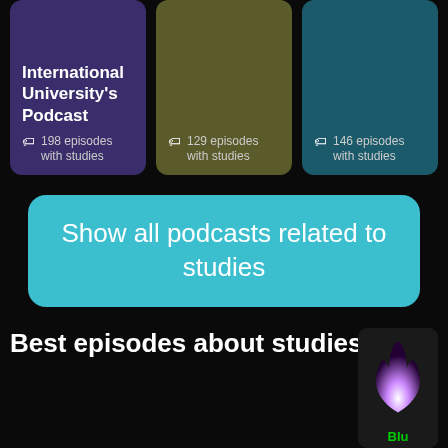International University's Podcast — 198 episodes with studies
Network — 129 episodes with studies
Binary Over — 146 episodes with studies
Show all podcasts related to studies
Best episodes about studies
[Figure (illustration): Partial podcast card with flame-like logo and 'Blu' label visible at bottom right]